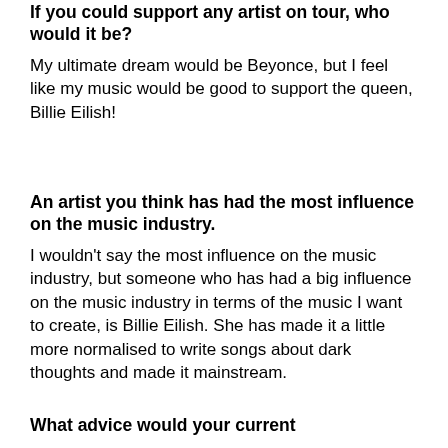If you could support any artist on tour, who would it be?
My ultimate dream would be Beyonce, but I feel like my music would be good to support the queen, Billie Eilish!
An artist you think has had the most influence on the music industry.
I wouldn't say the most influence on the music industry, but someone who has had a big influence on the music industry in terms of the music I want to create, is Billie Eilish. She has made it a little more normalised to write songs about dark thoughts and made it mainstream.
What advice would your current